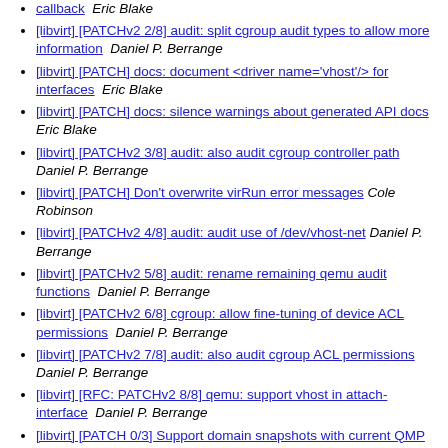callback  Eric Blake
[libvirt] [PATCHv2 2/8] audit: split cgroup audit types to allow more information  Daniel P. Berrange
[libvirt] [PATCH] docs: document <driver name='vhost'/> for interfaces  Eric Blake
[libvirt] [PATCH] docs: silence warnings about generated API docs  Eric Blake
[libvirt] [PATCHv2 3/8] audit: also audit cgroup controller path  Daniel P. Berrange
[libvirt] [PATCH] Don't overwrite virRun error messages  Cole Robinson
[libvirt] [PATCHv2 4/8] audit: audit use of /dev/vhost-net  Daniel P. Berrange
[libvirt] [PATCHv2 5/8] audit: rename remaining qemu audit functions  Daniel P. Berrange
[libvirt] [PATCHv2 6/8] cgroup: allow fine-tuning of device ACL permissions  Daniel P. Berrange
[libvirt] [PATCHv2 7/8] audit: also audit cgroup ACL permissions  Daniel P. Berrange
[libvirt] [RFC: PATCHv2 8/8] qemu: support vhost in attach-interface  Daniel P. Berrange
[libvirt] [PATCH 0/3] Support domain snapshots with current QMP whithout savevm command  Daniel P. Berrange
[libvirt] [libvirt-snmp][PATCH] resolve licensing conflicts